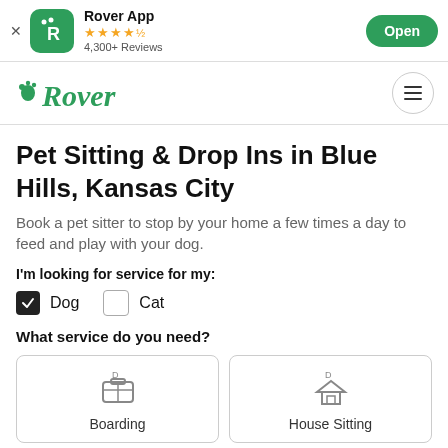[Figure (screenshot): Rover App banner with app icon, star rating, reviews count, and Open button]
[Figure (logo): Rover logo with paw print in green cursive font]
Pet Sitting & Drop Ins in Blue Hills, Kansas City
Book a pet sitter to stop by your home a few times a day to feed and play with your dog.
I'm looking for service for my:
Dog (checked), Cat (unchecked)
What service do you need?
Boarding
House Sitting